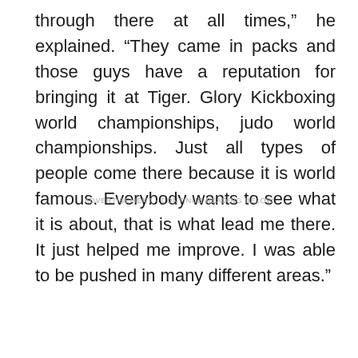through there at all times,” he explained. “They came in packs and those guys have a reputation for bringing it at Tiger. Glory Kickboxing world championships, judo world championships. Just all types of people come there because it is world famous. Everybody wants to see what it is about, that is what lead me there. It just helped me improve. I was able to be pushed in many different areas.”
ADVERTISEMENT - CONTINUE READING BELOW